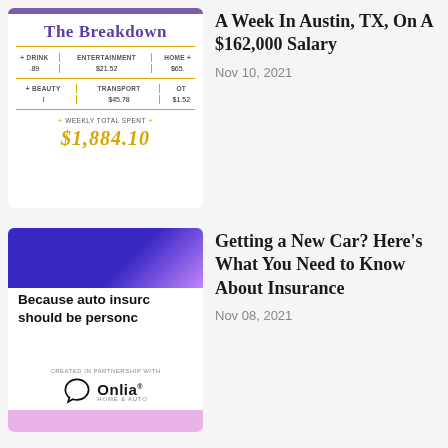[Figure (infographic): The Breakdown weekly expense summary card with purple top bar, title 'The Breakdown', columns for DRINK, ENTERTAINMENT, HOME, BEAUTY, TRANSPORT, OTHER with values $21.52, $65, $45.78, $1.52, and weekly total spent $1,884.10]
A Week In Austin, TX, On A $162,000 Salary
Nov 10, 2021
[Figure (infographic): Auto insurance advertisement card with purple/blue gradient top, text 'Because auto insurance should be personal', created in partnership with Onlia Home & Auto logo, pink bottom bar]
Getting a New Car? Here’s What You Need to Know About Insurance
Nov 08, 2021